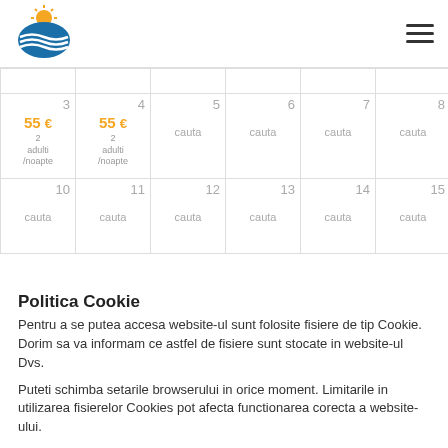Vest Travel & Vaconces logo and navigation
| col1 | col2 | col3 | col4 | col5 | col6 | col7 |
| --- | --- | --- | --- | --- | --- | --- |
| 3 / 55€ / 2 adulti /noapte | 4 / 55€ / 2 adulti /noapte | 5 / cauta | 6 / cauta | 7 / cauta | 8 / cauta | 9 / cauta |
| 10 / cauta | 11 / cauta | 12 / cauta | 13 / cauta | 14 / cauta | 15 / cauta | 16 / cauta |
Politica Cookie
Pentru a se putea accesa website-ul sunt folosite fisiere de tip Cookie. Dorim sa va informam ce astfel de fisiere sunt stocate in website-ul Dvs.
Puteti schimba setarile browserului in orice moment. Limitarile in utilizarea fisierelor Cookies pot afecta functionarea corecta a website-ului.
Sunt de acord